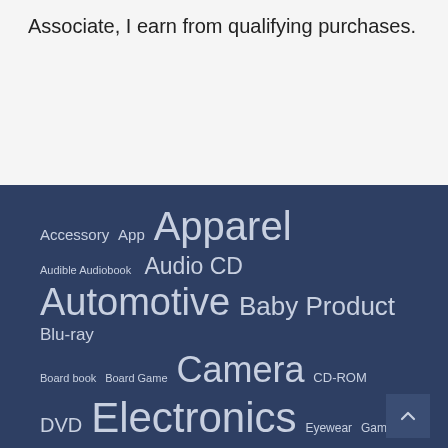Associate, I earn from qualifying purchases.
Accessory App Apparel Audible Audiobook Audio CD Automotive Baby Product Blu-ray Board book Board Game Camera CD-ROM DVD Electronics Eyewear Game Grocery Hardcover Health and Beauty home